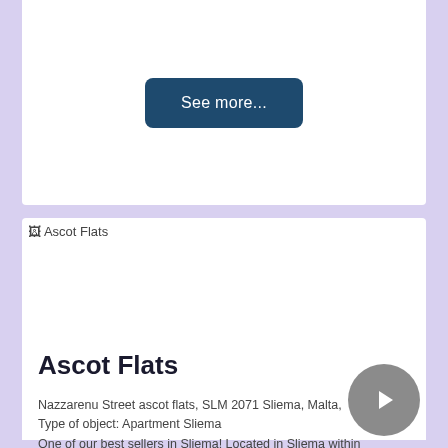[Figure (screenshot): A dark teal rounded button labeled 'See more...' centered in a white card area]
[Figure (photo): Broken image placeholder labeled 'Ascot Flats' at top of listing card]
Ascot Flats
Nazzarenu Street ascot flats, SLM 2071 Sliema, Malta, Type of object: Apartment Sliema
One of our best sellers in Sliema! Located in Sliema within 1.2 miles of The Point Shopping Mall, Ascot Flats provides accommodations with free WiFi, a flat-scr